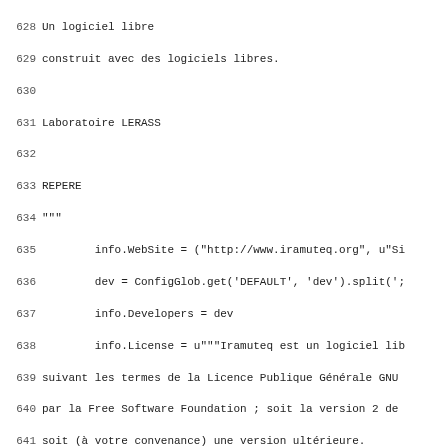Source code listing, lines 628-659, Python/French comments